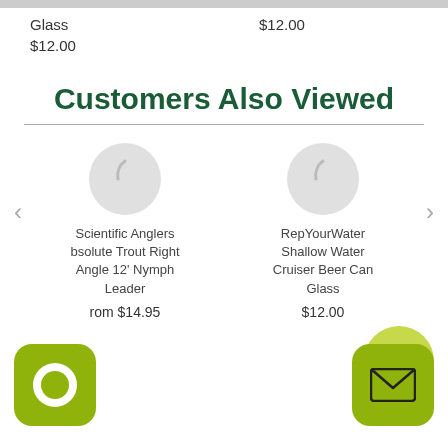Glass
$12.00
$12.00
Customers Also Viewed
Scientific Anglers Absolute Trout Right Angle 12' Nymph Leader
From $14.95
RepYourWater Shallow Water Cruiser Beer Can Glass
$12.00